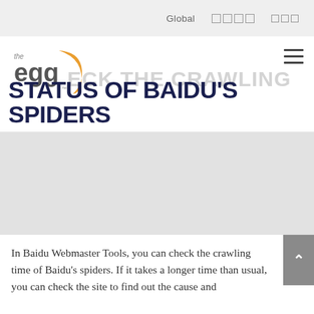Global             
[Figure (logo): The Egg company logo - orange egg-shaped swoosh with 'the egg' text in grey]
CHECK THE CRAWLING STATUS OF BAIDU'S SPIDERS
[Figure (photo): Large placeholder image area for article content]
In Baidu Webmaster Tools, you can check the crawling time of Baidu’s spiders. If it takes a longer time than usual, you can check the site to find out the cause and